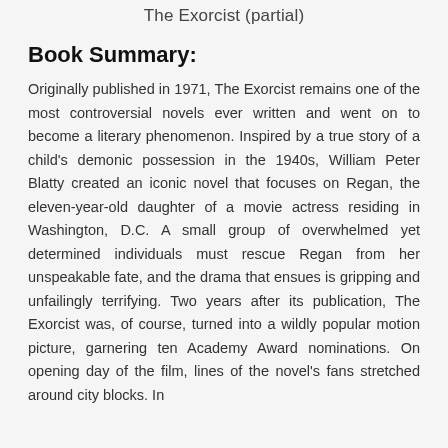The Exorcist (partial)
Book Summary:
Originally published in 1971, The Exorcist remains one of the most controversial novels ever written and went on to become a literary phenomenon. Inspired by a true story of a child's demonic possession in the 1940s, William Peter Blatty created an iconic novel that focuses on Regan, the eleven-year-old daughter of a movie actress residing in Washington, D.C. A small group of overwhelmed yet determined individuals must rescue Regan from her unspeakable fate, and the drama that ensues is gripping and unfailingly terrifying. Two years after its publication, The Exorcist was, of course, turned into a wildly popular motion picture, garnering ten Academy Award nominations. On opening day of the film, lines of the novel's fans stretched around city blocks. In